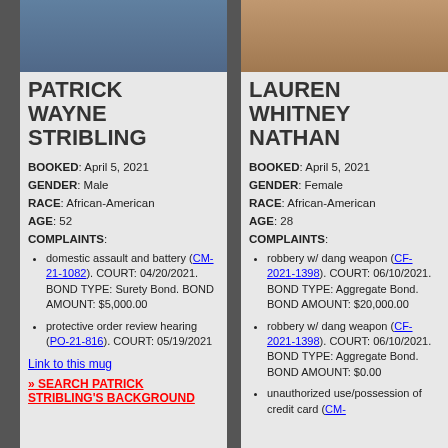[Figure (photo): Mugshot photo of Patrick Wayne Stribling, male, African-American]
PATRICK WAYNE STRIBLING
BOOKED: April 5, 2021
GENDER: Male
RACE: African-American
AGE: 52
COMPLAINTS:
domestic assault and battery (CM-21-1082). COURT: 04/20/2021. BOND TYPE: Surety Bond. BOND AMOUNT: $5,000.00
protective order review hearing (PO-21-816). COURT: 05/19/2021
Link to this mug
» SEARCH PATRICK STRIBLING'S BACKGROUND
[Figure (photo): Mugshot photo of Lauren Whitney Nathan, female, African-American]
LAUREN WHITNEY NATHAN
BOOKED: April 5, 2021
GENDER: Female
RACE: African-American
AGE: 28
COMPLAINTS:
robbery w/ dang weapon (CF-2021-1398). COURT: 06/10/2021. BOND TYPE: Aggregate Bond. BOND AMOUNT: $20,000.00
robbery w/ dang weapon (CF-2021-1398). COURT: 06/10/2021. BOND TYPE: Aggregate Bond. BOND AMOUNT: $0.00
unauthorized use/possession of credit card (CM-